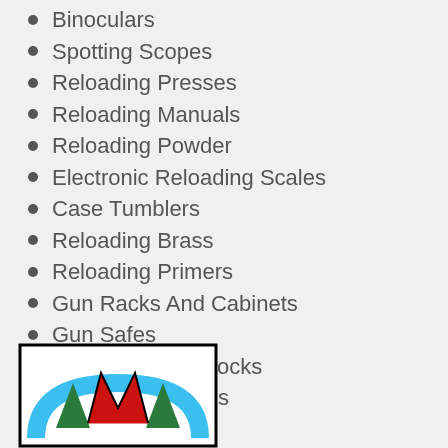Binoculars
Spotting Scopes
Reloading Presses
Reloading Manuals
Reloading Powder
Electronic Reloading Scales
Case Tumblers
Reloading Brass
Reloading Primers
Gun Racks And Cabinets
Gun Safes
Synthetic Gun Stocks
Wood Gun Stocks
Predator Decoys
Coyote Hunting Videos
Hunting Boots
Camo Rubber Boots
Scent Control Clothing
Camo Hats
[Figure (logo): Company logo with red 'W', green trees, and blue arch on white background with black border]